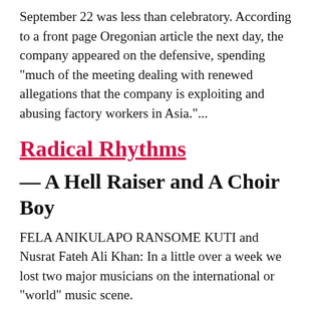September 22 was less than celebratory. According to a front page Oregonian article the next day, the company appeared on the defensive, spending "much of the meeting dealing with renewed allegations that the company is exploiting and abusing factory workers in Asia."...
Radical Rhythms
— A Hell Raiser and A Choir Boy
FELA ANIKULAPO RANSOME KUTI and Nusrat Fateh Ali Khan: In a little over a week we lost two major musicians on the international or "world" music scene.
Both died young of infectious diseases that are currently ravaging the developing world and the Third World that resides in the United States. Fela, from Nigeria, died at age 58 from complications of